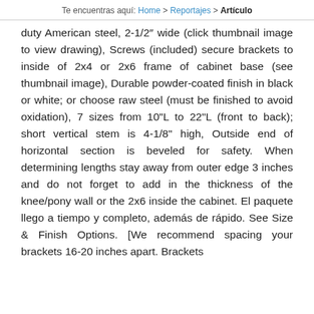Te encuentras aquí: Home > Reportajes > Artículo
duty American steel, 2-1/2″ wide (click thumbnail image to view drawing), Screws (included) secure brackets to inside of 2x4 or 2x6 frame of cabinet base (see thumbnail image), Durable powder-coated finish in black or white; or choose raw steel (must be finished to avoid oxidation), 7 sizes from 10"L to 22"L (front to back); short vertical stem is 4-1/8" high, Outside end of horizontal section is beveled for safety. When determining lengths stay away from outer edge 3 inches and do not forget to add in the thickness of the knee/pony wall or the 2x6 inside the cabinet. El paquete llego a tiempo y completo, además de rápido. See Size & Finish Options. [We recommend spacing your brackets 16-20 inches apart. Brackets